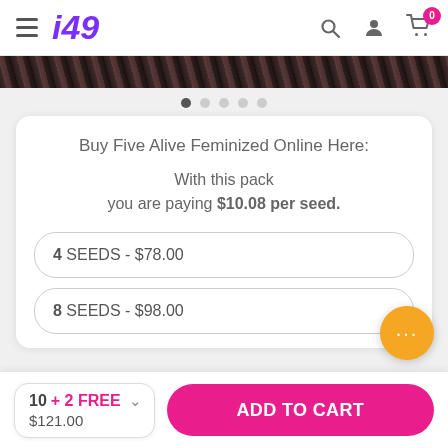i49
[Figure (photo): Dark floral/botanical product banner image strip]
Buy Five Alive Feminized Online Here:
With this pack you are paying $10.08 per seed.
4 SEEDS - $78.00
8 SEEDS - $98.00
10 + 2 FREE $121.00
ADD TO CART